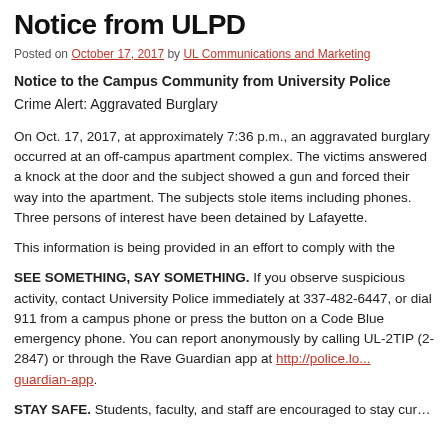Notice from ULPD
Posted on October 17, 2017 by UL Communications and Marketing
Notice to the Campus Community from University Police
Crime Alert: Aggravated Burglary
On Oct. 17, 2017, at approximately 7:36 p.m., an aggravated burglary occurred at an off-campus apartment complex. The victims answered a knock at the door and the subject showed a gun and forced their way into the apartment. The subjects stole items including phones. Three persons of interest have been detained by Lafayette...
This information is being provided in an effort to comply with the...
SEE SOMETHING, SAY SOMETHING. If you observe suspicious activity, contact University Police immediately at 337-482-6447, or dial 911 from a campus phone or press the button on a Code Blue emergency phone. You can report anonymously by calling UL-2TIP (2-2847) or through the Rave Guardian app at http://police.lo...guardian-app.
STAY SAFE. Students, faculty, and staff are encouraged to stay cur...